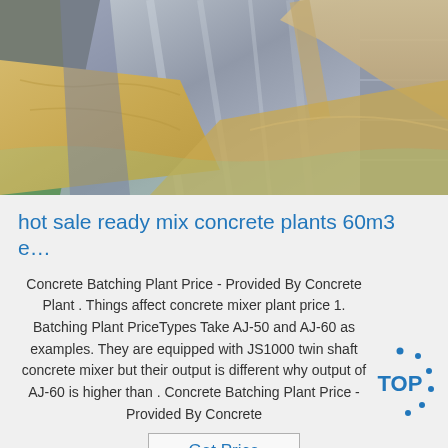[Figure (photo): Photo of metal sheets and wooden-framed panels with kraft paper wrapping on a green surface, industrial materials for construction]
hot sale ready mix concrete plants 60m3 e…
Concrete Batching Plant Price - Provided By Concrete Plant . Things affect concrete mixer plant price 1. Batching Plant PriceTypes Take AJ-50 and AJ-60 as examples. They are equipped with JS1000 twin shaft concrete mixer but their output is different why output of AJ-60 is higher than . Concrete Batching Plant Price - Provided By Concrete
[Figure (logo): TOP badge logo with blue dots around it, circular arrangement]
Get Price